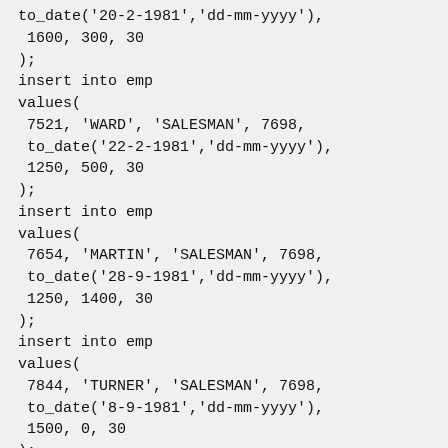to_date('20-2-1981','dd-mm-yyyy'),
 1600, 300, 30
);
insert into emp
values(
 7521, 'WARD', 'SALESMAN', 7698,
 to_date('22-2-1981','dd-mm-yyyy'),
 1250, 500, 30
);
insert into emp
values(
 7654, 'MARTIN', 'SALESMAN', 7698,
 to_date('28-9-1981','dd-mm-yyyy'),
 1250, 1400, 30
);
insert into emp
values(
 7844, 'TURNER', 'SALESMAN', 7698,
 to_date('8-9-1981','dd-mm-yyyy'),
 1500, 0, 30
);
insert into emp
values(
 7876, 'ADAMS', 'CLERK', 7788,
 to_date('13-JUL-87', 'dd-mm-rr') - 51,
 1100, null, 20
);